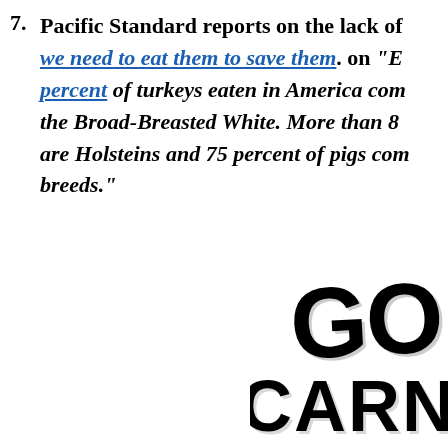7. Pacific Standard reports on the lack of we need to eat them to save them. on "E percent of turkeys eaten in America come from the Broad-Breasted White. More than 8 are Holsteins and 75 percent of pigs come from certain breeds."
[Figure (illustration): Bold hand-lettered text reading 'GO CARNIVORE' in large black brush-style lettering, partially visible on the right side of the page]